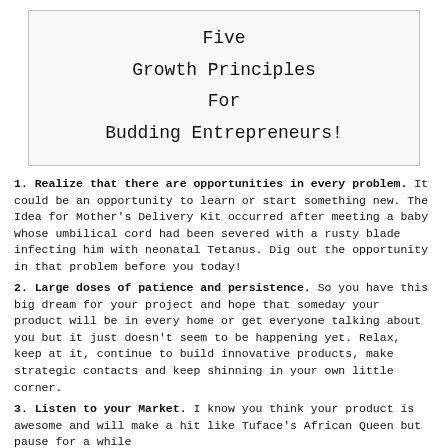Five Growth Principles For Budding Entrepreneurs!
1. Realize that there are opportunities in every problem. It could be an opportunity to learn or start something new. The Idea for Mother's Delivery Kit occurred after meeting a baby whose umbilical cord had been severed with a rusty blade infecting him with neonatal Tetanus. Dig out the opportunity in that problem before you today!
2. Large doses of patience and persistence. So you have this big dream for your project and hope that someday your product will be in every home or get everyone talking about you but it just doesn't seem to be happening yet. Relax, keep at it, continue to build innovative products, make strategic contacts and keep shinning in your own little corner.
3. Listen to your Market. I know you think your product is awesome and will make a hit like Tuface's African Queen but pause for a while